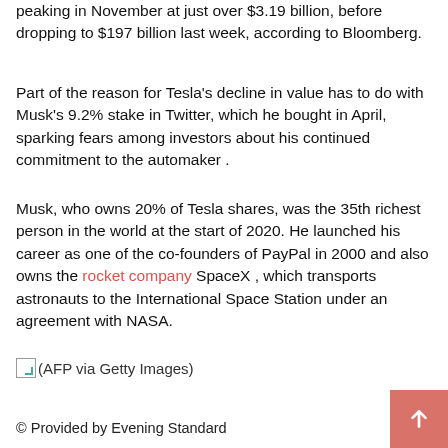peaking in November at just over $3.19 billion, before dropping to $197 billion last week, according to Bloomberg.
Part of the reason for Tesla's decline in value has to do with Musk's 9.2% stake in Twitter, which he bought in April, sparking fears among investors about his continued commitment to the automaker .
Musk, who owns 20% of Tesla shares, was the 35th richest person in the world at the start of 2020. He launched his career as one of the co-founders of PayPal in 2000 and also owns the rocket company SpaceX , which transports astronauts to the International Space Station under an agreement with NASA.
(AFP via Getty Images)
© Provided by Evening Standard